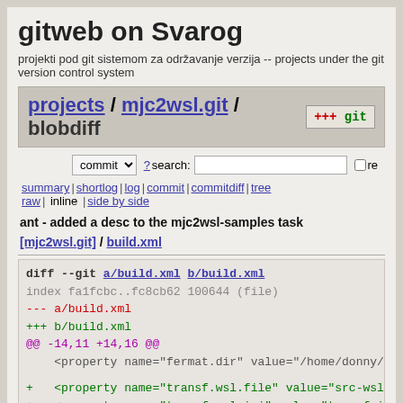gitweb on Svarog
projekti pod git sistemom za održavanje verzija -- projects under the git version control system
projects / mjc2wsl.git / blobdiff
commit ? search: re
summary | shortlog | log | commit | commitdiff | tree raw | inline | side by side
ant - added a desc to the mjc2wsl-samples task
[mjc2wsl.git] / build.xml
diff --git a/build.xml b/build.xml
index fa1fcbc..fc8cb62 100644 (file)
--- a/build.xml
+++ b/build.xml
@@ -14,11 +14,16 @@
     <property name="fermat.dir" value="/home/donny/d/donn
+    <property name="transf.wsl.file" value="src-wsl/trans
+    <property name="transf.wsl.ini" value="transf.ini